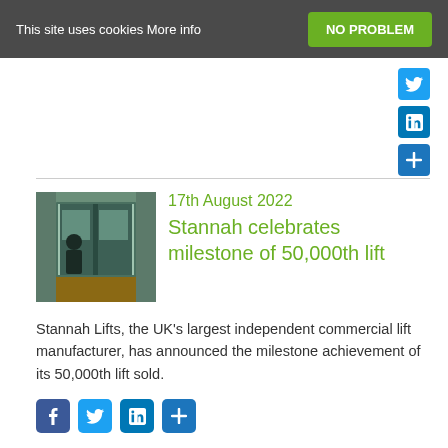This site uses cookies More info | NO PROBLEM
[Figure (screenshot): Social sharing icons: Twitter, LinkedIn, Share (plus) buttons on right side]
[Figure (photo): Thumbnail photo of a lift/elevator interior with glass doors and wooden floor]
17th August 2022 Stannah celebrates milestone of 50,000th lift
Stannah Lifts, the UK's largest independent commercial lift manufacturer, has announced the milestone achievement of its 50,000th lift sold.
[Figure (screenshot): Social sharing icons: Facebook, Twitter, LinkedIn, Share (plus) buttons]
Posted in Accessibility, Articles, Building